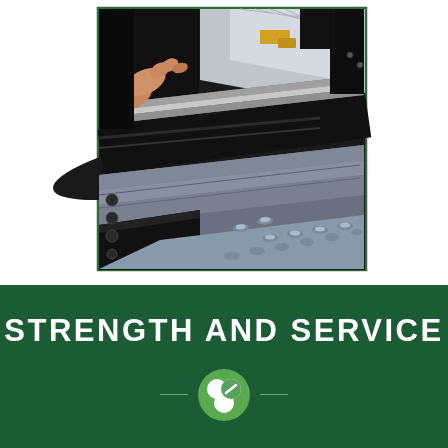[Figure (photo): Close-up photograph of a large format printer or plotter being serviced. A person's hand is adjusting/loading media on a large black industrial printer. A gray vinyl/media roll is visible, along with a diamond plate step surface in the foreground. The machine components include dark rollers and silver metallic printing components.]
STRENGTH AND SERVICE
[Figure (logo): Company logo showing three circular shapes arranged in a cluster (two white circles and one with a green checkmark/leaf), on the dark green banner background with horizontal lines on either side.]